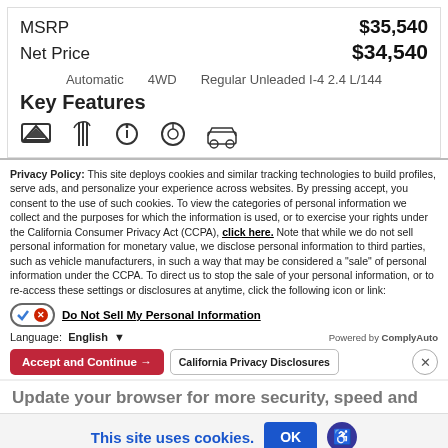MSRP  $35,540
Net Price  $34,540
Automatic  4WD  Regular Unleaded I-4 2.4 L/144
Key Features
Privacy Policy: This site deploys cookies and similar tracking technologies to build profiles, serve ads, and personalize your experience across websites. By pressing accept, you consent to the use of such cookies. To view the categories of personal information we collect and the purposes for which the information is used, or to exercise your rights under the California Consumer Privacy Act (CCPA), click here. Note that while we do not sell personal information for monetary value, we disclose personal information to third parties, such as vehicle manufacturers, in such a way that may be considered a "sale" of personal information under the CCPA. To direct us to stop the sale of your personal information, or to re-access these settings or disclosures at anytime, click the following icon or link:
Do Not Sell My Personal Information
Language:  English
Powered by ComplyAuto
Accept and Continue →
California Privacy Disclosures
Update your browser for more security, speed and
This site uses cookies.
OK